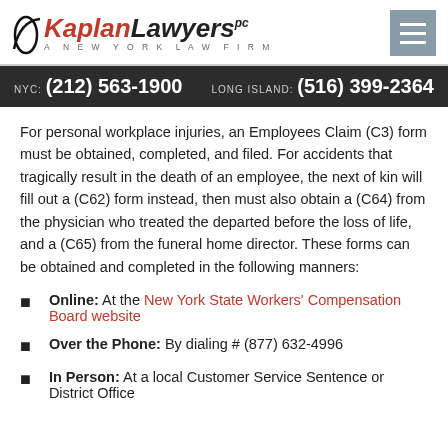KaplanLawyers pc — A NEW YORK LAW FIRM
NYC: (212) 563-1900   LONG ISLAND: (516) 399-2364
For personal workplace injuries, an Employees Claim (C3) form must be obtained, completed, and filed. For accidents that tragically result in the death of an employee, the next of kin will fill out a (C62) form instead, then must also obtain a (C64) from the physician who treated the departed before the loss of life, and a (C65) from the funeral home director. These forms can be obtained and completed in the following manners:
Online: At the New York State Workers' Compensation Board website
Over the Phone: By dialing # (877) 632-4996
In Person: At a local Customer Service Sentence or District Office